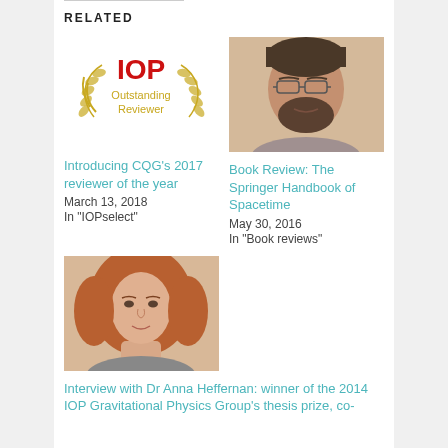RELATED
[Figure (logo): IOP Outstanding Reviewer award badge with laurel wreath in gold and red IOP text]
Introducing CQG’s 2017 reviewer of the year
March 13, 2018
In "IOPselect"
[Figure (photo): Photo of a middle-aged man with glasses and a beard]
Book Review: The Springer Handbook of Spacetime
May 30, 2016
In "Book reviews"
[Figure (photo): Photo of a woman with curly reddish-blonde hair]
Interview with Dr Anna Heffernan: winner of the 2014 IOP Gravitational Physics Group’s thesis prize, co-